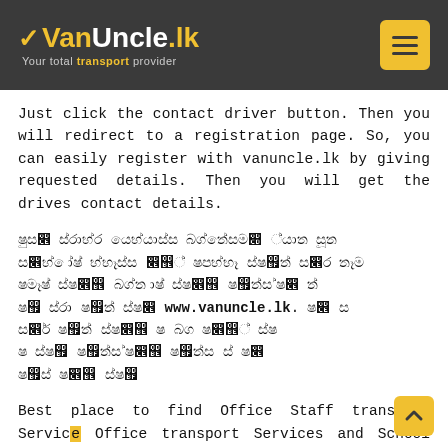VanUncle.lk — Your total transport provider
Just click the contact driver button. Then you will redirect to a registration page. So, you can easily register with vanuncle.lk by giving requested details. Then you will get the drives contact details.
Sinhala paragraph with www.vanuncle.lk reference (Sinhala script text)
Best place to find Office Staff transport Service, Office transport Services and School transport